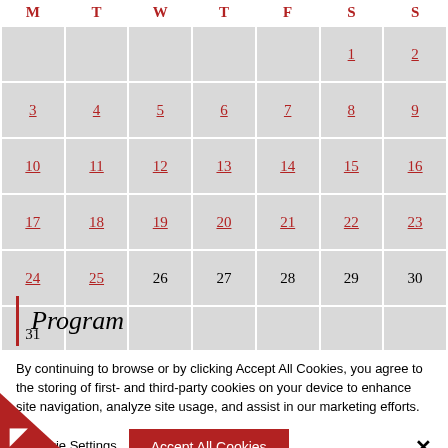| M | T | W | T | F | S | S |
| --- | --- | --- | --- | --- | --- | --- |
|  |  |  |  |  | 1 | 2 |
| 3 | 4 | 5 | 6 | 7 | 8 | 9 |
| 10 | 11 | 12 | 13 | 14 | 15 | 16 |
| 17 | 18 | 19 | 20 | 21 | 22 | 23 |
| 24 | 25 | 26 | 27 | 28 | 29 | 30 |
| 31 |  |  |  |  |  |  |
Program
By continuing to browse or by clicking Accept All Cookies, you agree to the storing of first- and third-party cookies on your device to enhance site navigation, analyze site usage, and assist in our marketing efforts.
Cookie Settings  Accept All Cookies  ×